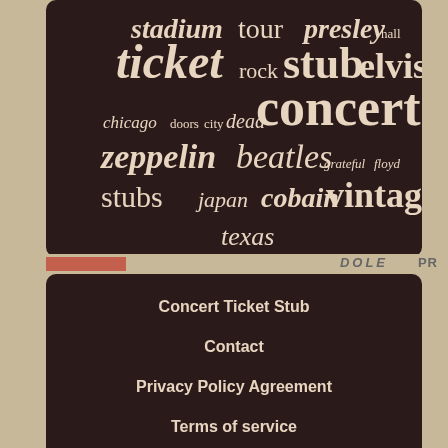[Figure (infographic): Word cloud on dark brown background featuring concert ticket related terms in varying sizes and styles. Words include: stadium, tour, presley, hall, ticket, rock, stub, elvis, concert, chicago, doors, city, dead, zeppelin, beatles, grateful, floyd, stubs, japan, cobain, vintage, texas.]
Concert Ticket Stub
Contact
Privacy Policy Agreement
Terms of service